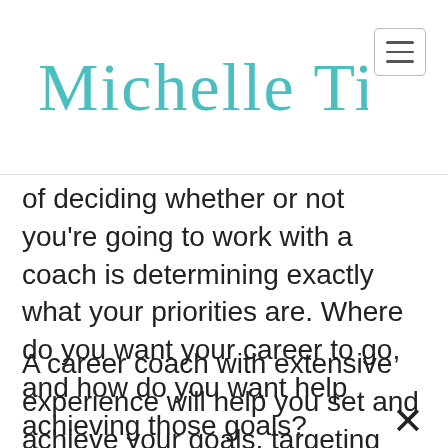Michelle Tillis Lederman
of deciding whether or not you're going to work with a coach is determining exactly what your priorities are. Where do you want your career to go, and how do you want help achieving those goals?
A career coach with extensive experience will help you set and achieve your goals, targeting opportunities that are aligned with them, and helping you strengthen your resilience and maintain motivation through...